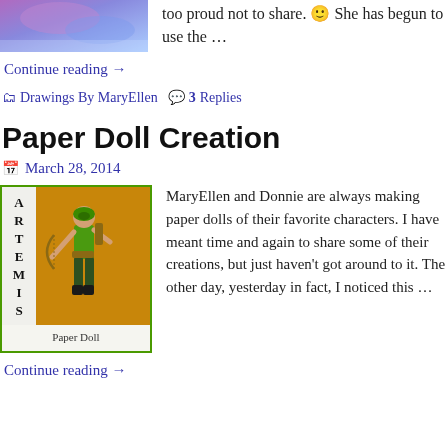[Figure (illustration): Top cropped image showing purple/blue abstract or character art]
too proud not to share. 🙂 She has begun to use the …
Continue reading →
📁 Drawings By MaryEllen 💬 3 Replies
Paper Doll Creation
📅 March 28, 2014
[Figure (illustration): Artemis paper doll image on orange/gold background with green border. Shows the word ARTEMIS vertically on left and 'Paper Doll' text at bottom. A paper doll figure of Artemis character in green costume holding a bow.]
MaryEllen and Donnie are always making paper dolls of their favorite characters. I have meant time and again to share some of their creations, but just haven't got around to it. The other day, yesterday in fact, I noticed this …
Continue reading →